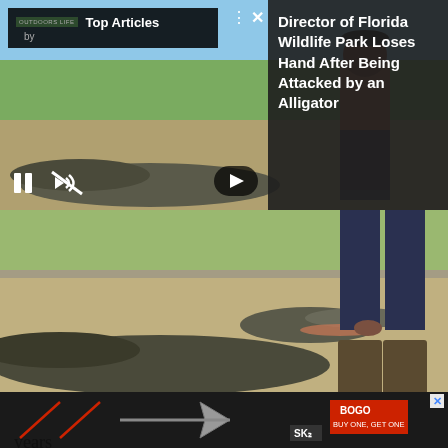[Figure (screenshot): Video player showing a man leaning over an alligator outdoors. Overlay shows Top Articles box in top-left, article title panel on right, video controls at bottom.]
Director of Florida Wildlife Park Loses Hand After Being Attacked by an Alligator
[Figure (photo): Large photo of an alligator with open mouth close to a person's legs standing outdoors near a fence.]
_On Saturday, October 27th, Alicia and I hunted our best stand sets on a farm that had produced for us in years
[Figure (other): SIK broadhead advertisement banner with BOGO Buy One Get One offer. Dark background with white SIK text and red accents.]